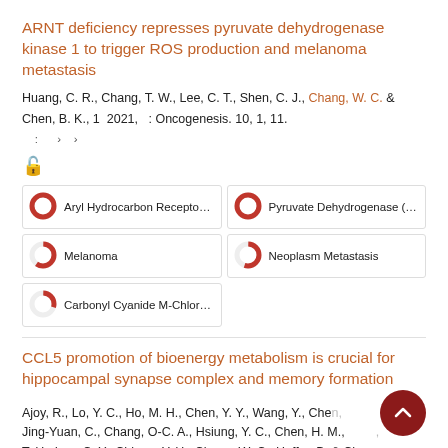ARNT deficiency represses pyruvate dehydrogenase kinase 1 to trigger ROS production and melanoma metastasis
Huang, C. R., Chang, T. W., Lee, C. T., Shen, C. J., Chang, W. C. & Chen, B. K., 1 2021, : Oncogenesis. 10, 1, 11.
[Figure (infographic): Open access icon (orange padlock symbol)]
[Figure (infographic): Keyword relevance badges grid: Aryl Hydrocarbon Receptor Nuc (100%), Pyruvate Dehydrogenase (Acety) (100%), Melanoma (60%), Neoplasm Metastasis (55%), Carbonyl Cyanide M-Chlorophe (30%)]
CCL5 promotion of bioenergy metabolism is crucial for hippocampal synapse complex and memory formation
Ajoy, R., Lo, Y. C., Ho, M. H., Chen, Y. Y., Wang, Y., Chen, Jing-Yuan, C., Chang, O-C. A., Hsiung, Y. C., Chen, H. M., T. H., Lee, C. Y., Chiang, Y. H., Chang, W. C., Hoffer, B. & Chou,